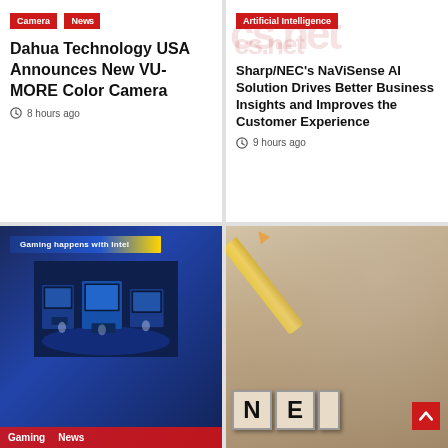Camera | News — Dahua Technology USA Announces New VU-MORE Color Camera — 8 hours ago
Artificial Intelligence — Sharp/NEC's NaViSense AI Solution Drives Better Business Insights and Improves the Customer Experience — 9 hours ago
[Figure (photo): Gaming expo booth with blue lighting and 'Gaming happens with Intel' banner]
[Figure (photo): Wooden letter dice spelling NEWS on sepia-toned background with pencil]